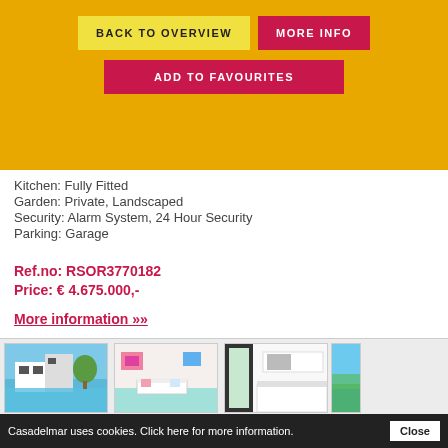BACK TO OVERVIEW | MORE INFO | ADD TO FAVOURITES
Kitchen: Fully Fitted
Garden: Private, Landscaped
Security: Alarm System, 24 Hour Security
Parking: Garage
Ref.no: RSOR3770182
Price: € 4.675.000,-
More information »»
[Figure (photo): Exterior view of modern villa with pool]
[Figure (photo): Interior living room with colorful decor]
[Figure (photo): Interior kitchen/living area in white]
[Figure (photo): Partial outdoor/landscape view]
Casadelmar uses cookies. Click here for more information. Close